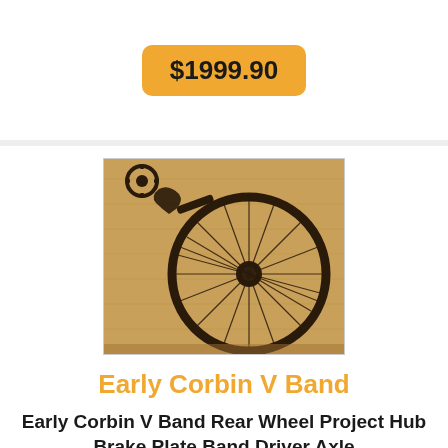$1999.90
[Figure (photo): An antique bicycle rear wheel with spokes laid on a wooden table, along with other vintage bicycle parts including a brake component and a small sprocket, photographed from above.]
Early Corbin V Band
Early Corbin V Band Rear Wheel Project Hub Brake Plate Band Driver Axle